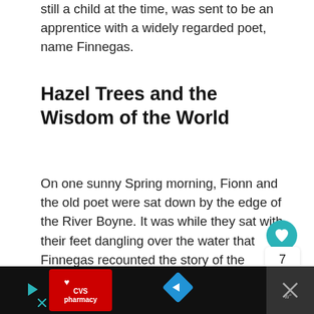still a child at the time, was sent to be an apprentice with a widely regarded poet, name Finnegas.
Hazel Trees and the Wisdom of the World
On one sunny Spring morning, Fionn and the old poet were sat down by the edge of the River Boyne. It was while they sat with their feet dangling over the water that Finnegas recounted the story of the Salmon of Knowledge to Fionn.
7